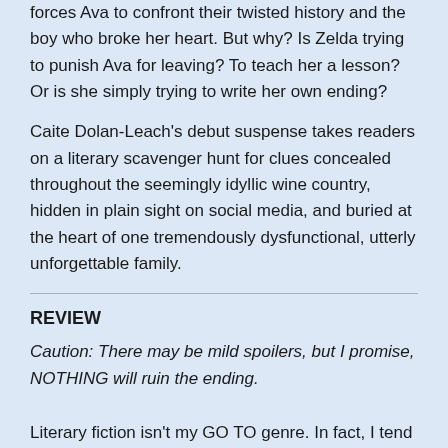forces Ava to confront their twisted history and the boy who broke her heart. But why? Is Zelda trying to punish Ava for leaving? To teach her a lesson? Or is she simply trying to write her own ending?
Caite Dolan-Leach's debut suspense takes readers on a literary scavenger hunt for clues concealed throughout the seemingly idyllic wine country, hidden in plain sight on social media, and buried at the heart of one tremendously dysfunctional, utterly unforgettable family.
REVIEW
Caution: There may be mild spoilers, but I promise, NOTHING will ruin the ending.
Literary fiction isn't my GO TO genre. In fact, I tend to avoid it. For the most part I don't like that style of writing. Going into Dead Letters I knew it was a more literary book than I gravitate toward and honestly, up until about 15-20% I seriously considered quitting. By the time I reached THE END (sobbing like a baby) I was so glad I didn't quit this one.